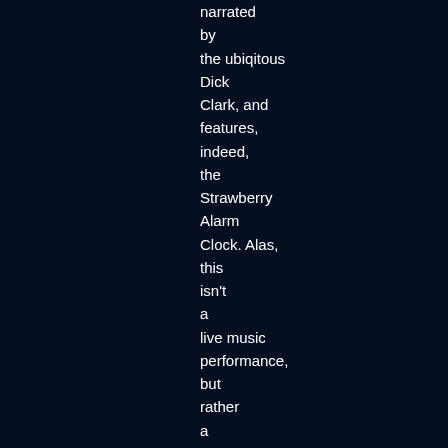narrated by the ubiqitous Dick Clark, and features, indeed, the Strawberry Alarm Clock. Alas, this isn't a live music performance, but rather a short interview where Dick Clark speaks with SAC "leader" Mark Weitz and the other